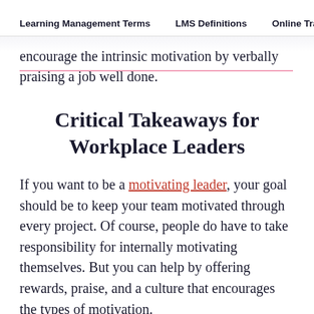Learning Management Terms   LMS Definitions   Online Tra
encourage the intrinsic motivation by verbally praising a job well done.
Critical Takeaways for Workplace Leaders
If you want to be a motivating leader, your goal should be to keep your team motivated through every project. Of course, people do have to take responsibility for internally motivating themselves. But you can help by offering rewards, praise, and a culture that encourages the types of motivation.
First, never assume that an employee doesn't want to work. Start with the understanding that everyone